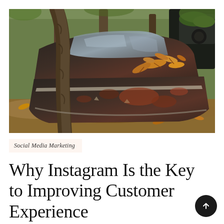[Figure (photo): Abandoned rusted vintage car in a forest setting, covered in autumn leaves, with a large tree trunk in the foreground. The car's rear windshield and rusted body are visible. Forest with fallen leaves in the background.]
Social Media Marketing
Why Instagram Is the Key to Improving Customer Experience